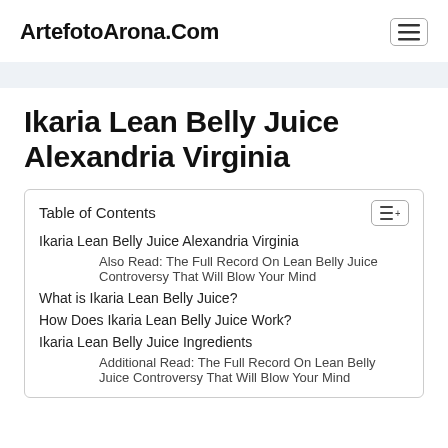ArtefotoArona.Com
Ikaria Lean Belly Juice Alexandria Virginia
| Table of Contents |
| --- |
| Ikaria Lean Belly Juice Alexandria Virginia |
| Also Read: The Full Record On Lean Belly Juice Controversy That Will Blow Your Mind |
| What is Ikaria Lean Belly Juice? |
| How Does Ikaria Lean Belly Juice Work? |
| Ikaria Lean Belly Juice Ingredients |
| Additional Read: The Full Record On Lean Belly Juice Controversy That Will Blow Your Mind |